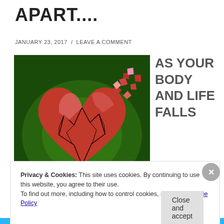APART....
JANUARY 23, 2017  /  LEAVE A COMMENT
[Figure (illustration): A 3D rendered cracked red heart shattering apart against a dark green background, with pieces flying off to the upper right.]
AS YOUR BODY AND LIFE FALLS
APART....
Privacy & Cookies: This site uses cookies. By continuing to use this website, you agree to their use.
To find out more, including how to control cookies, see here: Cookie Policy